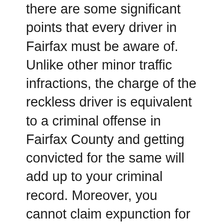there are some significant points that every driver in Fairfax must be aware of. Unlike other minor traffic infractions, the charge of the reckless driver is equivalent to a criminal offense in Fairfax County and getting convicted for the same will add up to your criminal record. Moreover, you cannot claim expunction for this conviction. In addition to that, the conviction of reckless driving in Fairfax County also stays on your DMV record for a period of net 11 years and will add 6 DMV demerit points on your criminal record. Even the Judge has no control over these points. They are evaluated administratively by the DMV on the basis of conviction.
Furthermore, in Fairfax County Judges will not offer any leverage even if you are a first